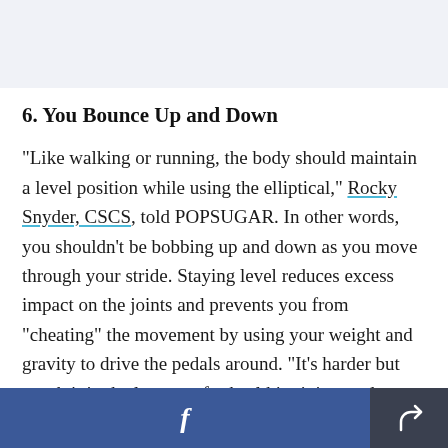6. You Bounce Up and Down
"Like walking or running, the body should maintain a level position while using the elliptical," Rocky Snyder, CSCS, told POPSUGAR. In other words, you shouldn't be bobbing up and down as you move through your stride. Staying level reduces excess impact on the joints and prevents you from "cheating" the movement by using your weight and gravity to drive the pedals around. "It's harder but worth it in the long run for healthier joints and
f  [share]